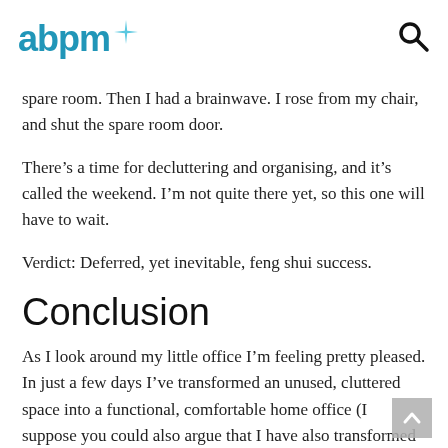abpm
spare room. Then I had a brainwave. I rose from my chair, and shut the spare room door.
There’s a time for decluttering and organising, and it’s called the weekend. I’m not quite there yet, so this one will have to wait.
Verdict: Deferred, yet inevitable, feng shui success.
Conclusion
As I look around my little office I’m feeling pretty pleased. In just a few days I’ve transformed an unused, cluttered space into a functional, comfortable home office (I suppose you could also argue that I have also transformed a functional, comfortable spare bedroom into a cluttered, non-functional